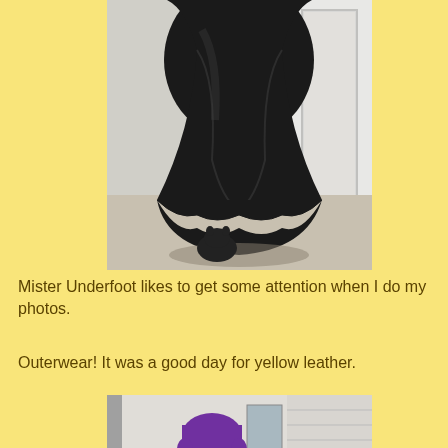[Figure (photo): Lower portion of a person wearing a long black leather/satin skirt or cape, standing on a beige carpet floor with white walls and a door visible in the background. A small dark cat is visible at the bottom of the garment.]
Mister Underfoot likes to get some attention when I do my photos.
Outerwear! It was a good day for yellow leather.
[Figure (photo): A person with short purple hair and glasses, wearing a yellow garment, visible in what appears to be a mirror reflection or doorway. Background shows wall decor and blinds.]